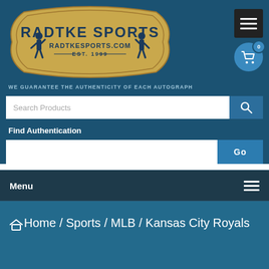[Figure (logo): Radtke Sports logo — gold badge shape with text RADTKE SPORTS, RADTKESPORTS.COM, EST. 1999, with two baseball player silhouettes]
WE GUARANTEE THE AUTHENTICITY OF EACH AUTOGRAPH
Search Products
Find Authentication
Go
Menu
Home / Sports / MLB / Kansas City Royals